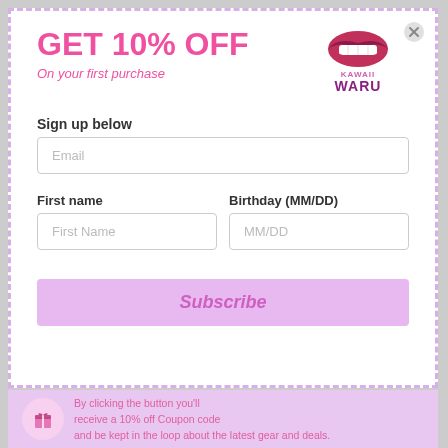GET 10% OFF
On your first purchase
[Figure (logo): Kawaii Waru logo with lips and text KAWAII WARU in pink and dark purple]
Sign up below
Email (input field placeholder)
First name | Birthday (MM/DD)
Subscribe (button)
By clicking the button you'll receive a 10% off Coupon code and be kept in the loop about the latest gear and deals.